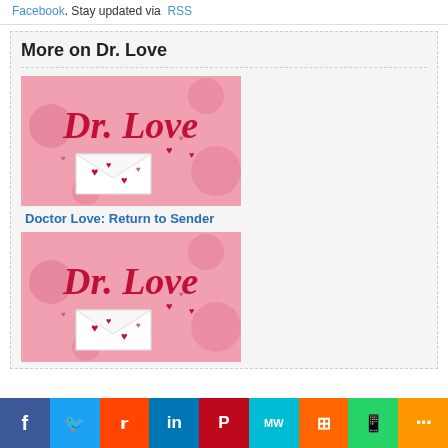Facebook. Stay updated via RSS
More on Dr. Love
[Figure (illustration): Dr. Love logo image with cursive red text 'Dr. Love' and white envelope with red hearts on pink background]
Doctor Love: Return to Sender
[Figure (illustration): Dr. Love logo image with cursive red text 'Dr. Love' and white envelope with red hearts on pink background]
Facebook Twitter Reddit LinkedIn Pinterest MW Mix WhatsApp More social share buttons